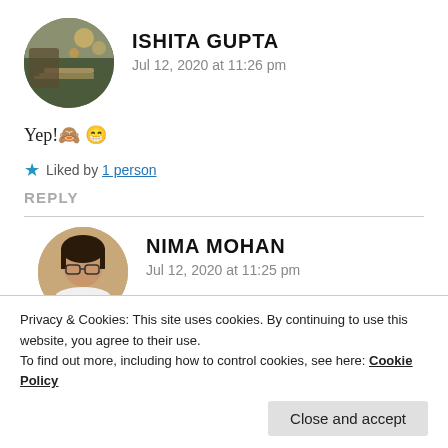[Figure (photo): Circular avatar photo of Ishita Gupta showing a person reading with bokeh background]
ISHITA GUPTA
Jul 12, 2020 at 11:26 pm
Yep! 🙈 😁
★ Liked by 1 person
REPLY
[Figure (photo): Circular avatar photo of Nima Mohan showing a woman with glasses]
NIMA MOHAN
Jul 12, 2020 at 11:25 pm
★ Liked by 1 person
Privacy & Cookies: This site uses cookies. By continuing to use this website, you agree to their use.
To find out more, including how to control cookies, see here: Cookie Policy
Close and accept